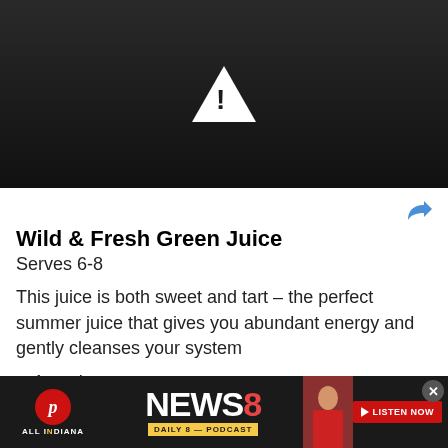[Figure (screenshot): Dark video placeholder with white warning triangle exclamation icon in center, gradient dark background]
Wild & Fresh Green Juice
Serves 6-8
This juice is both sweet and tart – the perfect summer juice that gives you abundant energy and gently cleanses your system
1 apple
1 [partially visible]
[Figure (screenshot): Advertisement banner for All Indiana News 8 Daily 8 Podcast with Listen Now button and photo of woman]